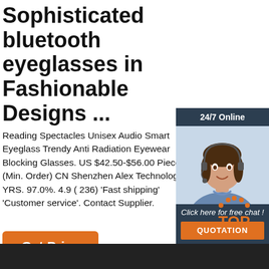Sophisticated bluetooth eyeglasses in Fashionable Designs ...
Reading Spectacles Unisex Audio Smart Eyeglass Trendy Anti Radiation Eyewear Blocking Glasses. US $42.50-$56.00 Piece (Min. Order) CN Shenzhen Alex Technology YRS. 97.0%. 4.9 ( 236) 'Fast shipping' 'Customer service'. Contact Supplier.
[Figure (photo): Customer service representative with headset, smiling, with '24/7 Online' header, 'Click here for free chat!' text, and an orange QUOTATION button]
[Figure (logo): Orange 'TOP' logo with dotted arc above the text]
Get Price